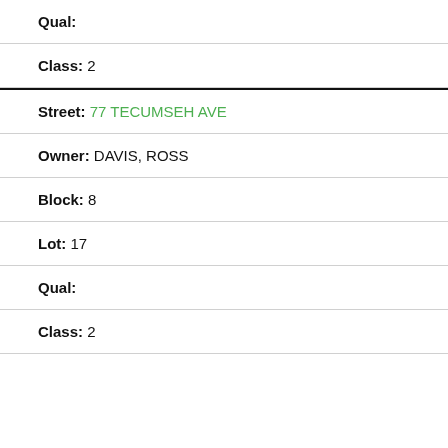Qual:
Class: 2
Street: 77 TECUMSEH AVE
Owner: DAVIS, ROSS
Block: 8
Lot: 17
Qual:
Class: 2